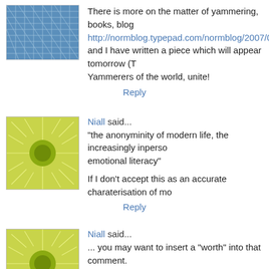[Figure (illustration): Blue grid/mesh pattern avatar image]
There is more on the matter of yammering, books, blog http://normblog.typepad.com/normblog/2007/06/for_bo and I have written a piece which will appear tomorrow (T Yammerers of the world, unite!
Reply
[Figure (illustration): Yellow-green sunburst pattern avatar image for Niall]
Niall said...
"the anonyminity of modern life, the increasingly inperso emotional literacy"
If I don't accept this as an accurate charaterisation of mo
Reply
[Figure (illustration): Yellow-green sunburst pattern avatar image for Niall]
Niall said...
... you may want to insert a "worth" into that comment.
Reply
[Figure (illustration): Small avatar image for Victoria]
Victoria said...